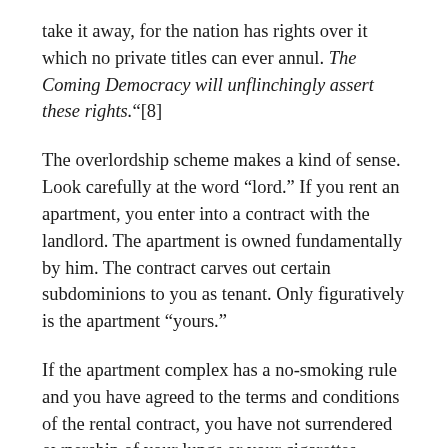take it away, for the nation has rights over it which no private titles can ever annul. The Coming Democracy will unflinchingly assert these rights."[8]
The overlordship scheme makes a kind of sense. Look carefully at the word “lord.” If you rent an apartment, you enter into a contract with the landlord. The apartment is owned fundamentally by him. The contract carves out certain subdominions to you as tenant. Only figuratively is the apartment “yours.”
If the apartment complex has a no-smoking rule and you have agreed to the terms and conditions of the rental contract, you have not surrendered ownership of your lungs or your cigarettes — you